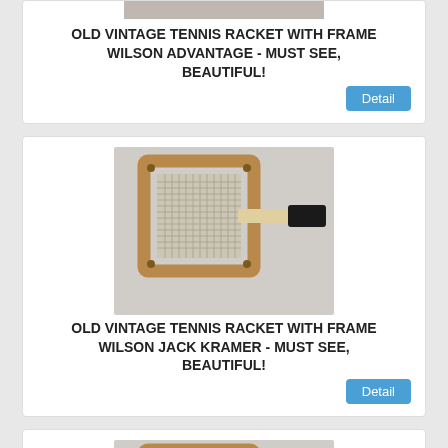[Figure (photo): Partial view of a vintage tennis racket with wooden frame at top of page]
OLD VINTAGE TENNIS RACKET WITH FRAME WILSON ADVANTAGE - MUST SEE, BEAUTIFUL!
[Figure (photo): Old vintage wooden tennis racket with square wooden press/frame, Wilson Jack Kramer model, lying on light surface]
OLD VINTAGE TENNIS RACKET WITH FRAME WILSON JACK KRAMER - MUST SEE, BEAUTIFUL!
[Figure (photo): Old vintage wooden tennis racket with square wooden press/frame, similar to Jack Kramer model, lying on light surface]
OLD VINTAGE TENNIS RACKET WITH FRAME